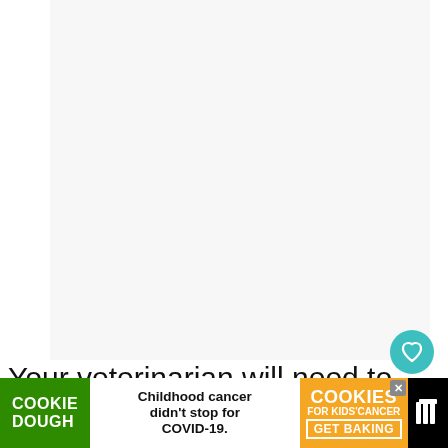[Figure (photo): Large blank/white image area placeholder for a photo related to veterinary or food/pet content]
Your veterinarian will need to know details of what happened, what they ate, when they ate, and how much to prepare for vo... provide
[Figure (other): Cookie Dough advertisement banner: 'COOKIE DOUGH' in green, 'Childhood cancer didn't stop for COVID-19.', cookies for kids' cancer logo in orange with 'GET BAKING', and close button X]